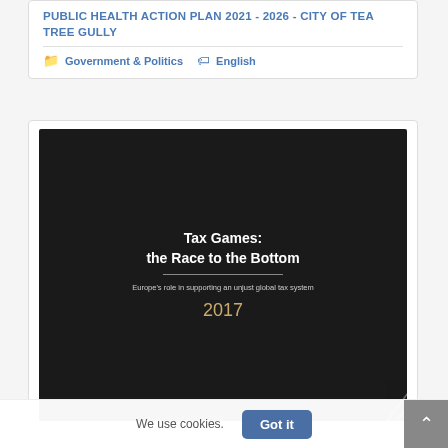PUBLIC HEALTH ACTION PLAN 2021 - 2026 - CITY OF TEA TREE GULLY
Government & Politics  English
[Figure (illustration): Book cover with dark background showing title 'Tax Games: the Race to the Bottom', subtitle 'Europe's role in supporting an unjust global tax system', year '2017', with diagonal line decorations in the bottom right corner.]
We use cookies.  Got it